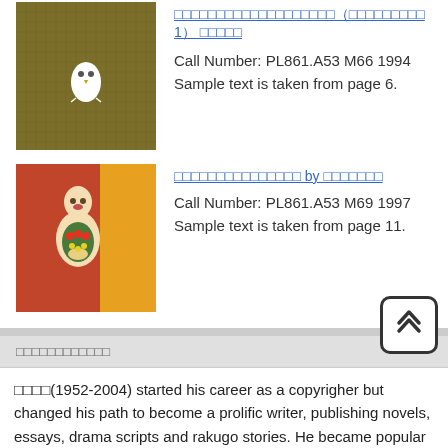[Figure (illustration): Book cover with dark olive/brown textured background and a small white owl icon]
Call Number: PL861.A53 M66 1994
Sample text is taken from page 6.
[Figure (illustration): Book cover with red/orange and yellow vertical split background and a matryoshka doll illustration]
Call Number: PL861.A53 M69 1997
Sample text is taken from page 11.
□□□□□□□□□□□□
□□□□(1952-2004) started his career as a copyrigher but changed his path to become a prolific writer, publishing novels, essays, drama scripts and rakugo stories. He became popular with his "twisted sense of humour."  He is also active in the music industry when he formed his own band. He received the 13th Eiji Yoshikawa New Author Prize with his □□□□□□□□□□□□ and Mystery Writers of Japan Aaward with □□□□□□□.
To see a sample text in a new tab, please click on the cover image or the title.